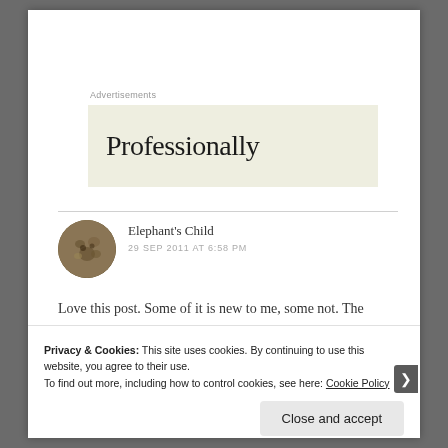Advertisements
[Figure (illustration): Advertisement banner with beige/cream background showing the word 'Professionally' in large serif font]
Elephant's Child
29 SEP 2011 AT 6:58 PM
Love this post. Some of it is new to me, some not. The
Privacy & Cookies: This site uses cookies. By continuing to use this website, you agree to their use. To find out more, including how to control cookies, see here: Cookie Policy
Close and accept